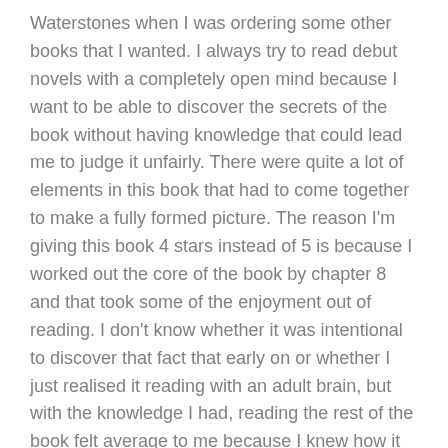Waterstones when I was ordering some other books that I wanted. I always try to read debut novels with a completely open mind because I want to be able to discover the secrets of the book without having knowledge that could lead me to judge it unfairly. There were quite a lot of elements in this book that had to come together to make a fully formed picture. The reason I'm giving this book 4 stars instead of 5 is because I worked out the core of the book by chapter 8 and that took some of the enjoyment out of reading. I don't know whether it was intentional to discover that fact that early on or whether I just realised it reading with an adult brain, but with the knowledge I had, reading the rest of the book felt average to me because I knew how it would progress.
There were still some surprises and moments that I